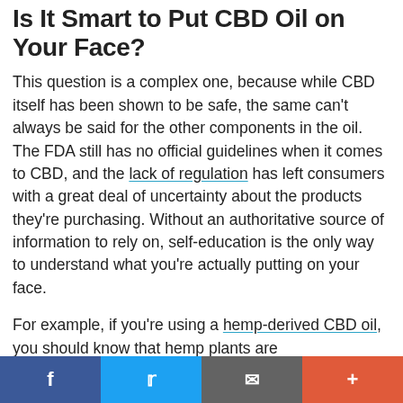Is It Smart to Put CBD Oil on Your Face?
This question is a complex one, because while CBD itself has been shown to be safe, the same can't always be said for the other components in the oil. The FDA still has no official guidelines when it comes to CBD, and the lack of regulation has left consumers with a great deal of uncertainty about the products they're purchasing. Without an authoritative source of information to rely on, self-education is the only way to understand what you're actually putting on your face.
For example, if you're using a hemp-derived CBD oil, you should know that hemp plants are bioaccumulators, meaning they're adept at absorbing materials from the soil in which they're grown — including heavy metals. As a result, oils produced from these plants may contain toxic chemicals and carcinogens, albeit usually in trace amounts. Some of these oils are tested by independent third-party
f  t  [mail]  +